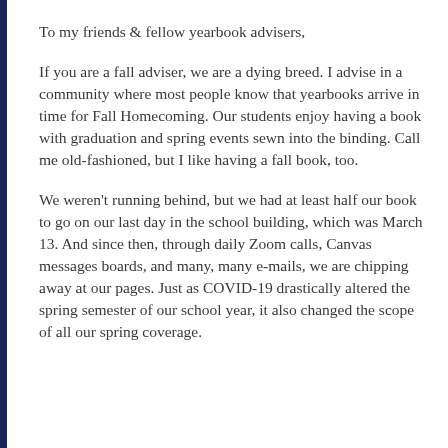To my friends & fellow yearbook advisers,
If you are a fall adviser, we are a dying breed. I advise in a community where most people know that yearbooks arrive in time for Fall Homecoming. Our students enjoy having a book with graduation and spring events sewn into the binding. Call me old-fashioned, but I like having a fall book, too.
We weren't running behind, but we had at least half our book to go on our last day in the school building, which was March 13. And since then, through daily Zoom calls, Canvas messages boards, and many, many e-mails, we are chipping away at our pages. Just as COVID-19 drastically altered the spring semester of our school year, it also changed the scope of all our spring coverage.